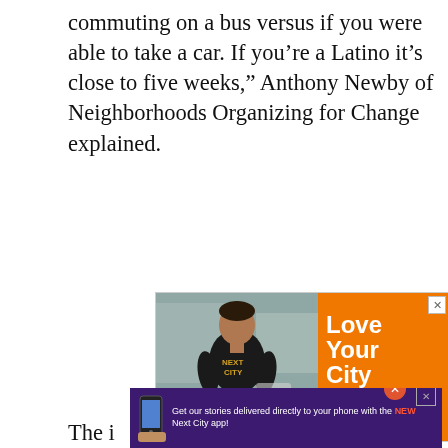commuting on a bus versus if you were able to take a car. If you're a Latino it's close to five weeks," Anthony Newby of Neighborhoods Organizing for Change explained.
[Figure (photo): Advertisement showing a man in a black 'Next City' t-shirt on the left (photo), and an orange panel on the right with text 'Love Your City' and 'Next City Shirts, Hats, and More.' with a close (X) button.]
[Figure (infographic): Purple notification bar advertisement: a hand holding a smartphone on the left, text reading 'Get our stories delivered directly to your phone with the NEW Next City app!' with an orange close button and an X button.]
The i... ond